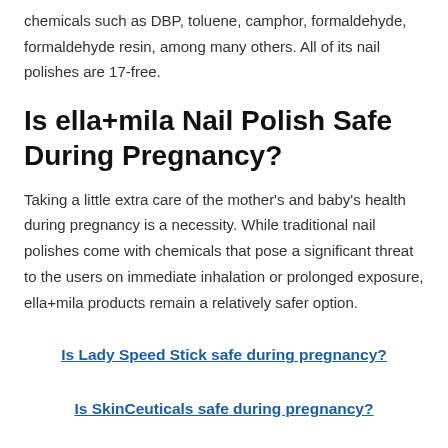chemicals such as DBP, toluene, camphor, formaldehyde, formaldehyde resin, among many others. All of its nail polishes are 17-free.
Is ella+mila Nail Polish Safe During Pregnancy?
Taking a little extra care of the mother's and baby's health during pregnancy is a necessity. While traditional nail polishes come with chemicals that pose a significant threat to the users on immediate inhalation or prolonged exposure, ella+mila products remain a relatively safer option.
Is Lady Speed Stick safe during pregnancy?
Is SkinCeuticals safe during pregnancy?